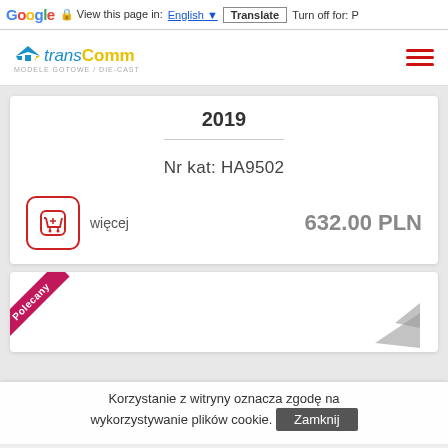Google Translate bar: View this page in: English | Translate | Turn off for: P
[Figure (logo): transComm logo with airplane icon and text 'MODELE GOTOWE / DIE-CAST']
2019
Nr kat: HA9502
więcej
632.00 PLN
[Figure (other): Second product card with 'Polecany' ribbon and partial airplane image]
Korzystanie z witryny oznacza zgodę na wykorzystywanie plików cookie. Zamknij